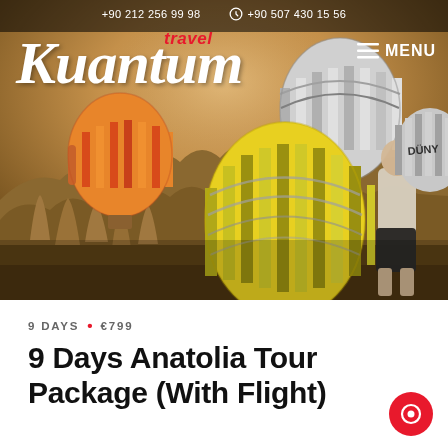+90 212 256 99 98  +90 507 430 15 56
[Figure (photo): Hero image showing hot air balloons over Cappadocia landscape with a man standing and watching, overlaid with Kuantum Travel logo and MENU button]
9 DAYS • €799
9 Days Anatolia Tour Package (With Flight)